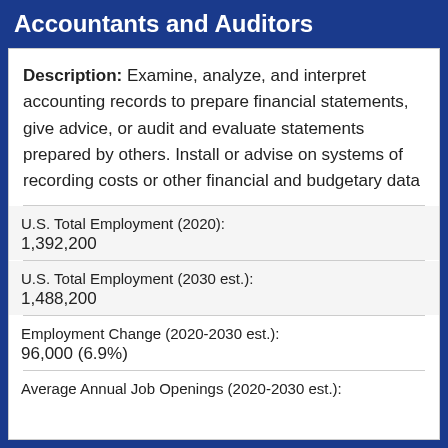Accountants and Auditors
Description: Examine, analyze, and interpret accounting records to prepare financial statements, give advice, or audit and evaluate statements prepared by others. Install or advise on systems of recording costs or other financial and budgetary data
U.S. Total Employment (2020):
1,392,200
U.S. Total Employment (2030 est.):
1,488,200
Employment Change (2020-2030 est.):
96,000 (6.9%)
Average Annual Job Openings (2020-2030 est.):